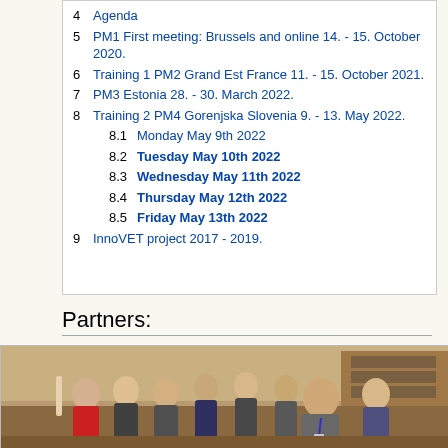4  Agenda
5  PM1 First meeting: Brussels and online 14. - 15. October 2020.
6  Training 1 PM2 Grand Est France 11. - 15. October 2021.
7  PM3 Estonia 28. - 30. March 2022.
8  Training 2 PM4 Gorenjska Slovenia 9. - 13. May 2022.
8.1  Monday May 9th 2022
8.2  Tuesday May 10th 2022
8.3  Wednesday May 11th 2022
8.4  Thursday May 12th 2022
8.5  Friday May 13th 2022
9  InnoVET project 2017 - 2019.
Partners:
[Figure (photo): Group of young students and an instructor in a workshop/laboratory setting, looking at something being demonstrated. The instructor is in the center foreground wearing a lanyard.]